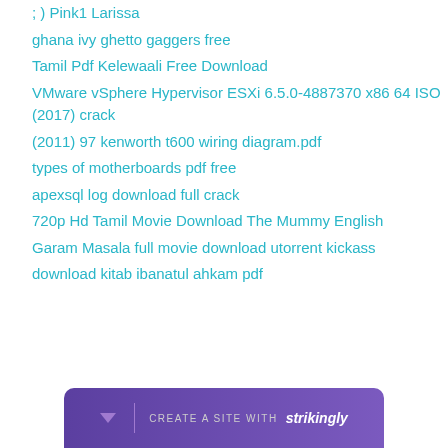; ) Pink1 Larissa
ghana ivy ghetto gaggers free
Tamil Pdf Kelewaali Free Download
VMware vSphere Hypervisor ESXi 6.5.0-4887370 x86 64 ISO (2017) crack
(2011) 97 kenworth t600 wiring diagram.pdf
types of motherboards pdf free
apexsql log download full crack
720p Hd Tamil Movie Download The Mummy English
Garam Masala full movie download utorrent kickass
download kitab ibanatul ahkam pdf
[Figure (other): Strikingly website builder promotional bar with arrow icon, divider, 'CREATE A SITE WITH' text and 'strikingly' brand name in italic bold]